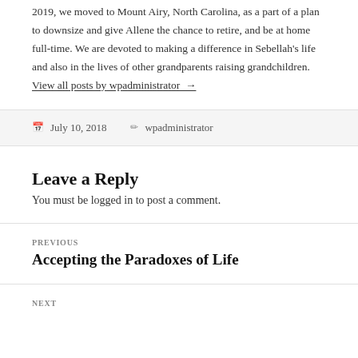2019, we moved to Mount Airy, North Carolina, as a part of a plan to downsize and give Allene the chance to retire, and be at home full-time. We are devoted to making a difference in Sebellah's life and also in the lives of other grandparents raising grandchildren. View all posts by wpadministrator →
July 10, 2018   wpadministrator
Leave a Reply
You must be logged in to post a comment.
PREVIOUS
Accepting the Paradoxes of Life
NEXT